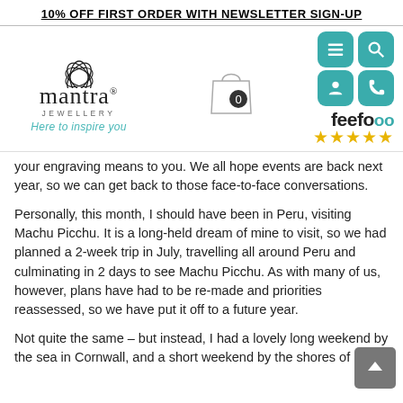10% OFF FIRST ORDER WITH NEWSLETTER SIGN-UP
[Figure (logo): Mantra Jewellery logo with lotus flower, brand name, tagline 'Here to inspire you', shopping bag with 0 items, navigation icons (menu, search, account, phone), and Feefo 5-star rating]
your engraving means to you. We all hope events are back next year, so we can get back to those face-to-face conversations.
Personally, this month, I should have been in Peru, visiting Machu Picchu. It is a long-held dream of mine to visit, so we had planned a 2-week trip in July, travelling all around Peru and culminating in 2 days to see Machu Picchu. As with many of us, however, plans have had to be re-made and priorities reassessed, so we have put it off to a future year.
Not quite the same – but instead, I had a lovely long weekend by the sea in Cornwall, and a short weekend by the shores of